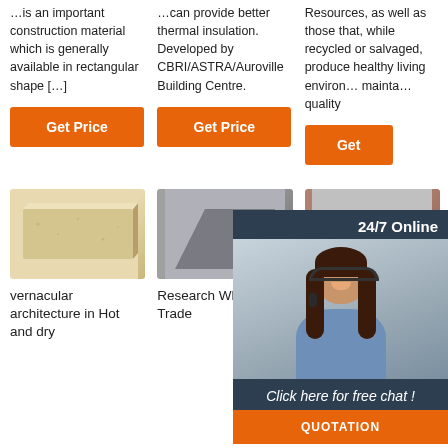...is an important construction material which is generally available in rectangular shape [...]
...can provide better thermal insulation. Developed by CBRI/ASTRA/Auroville Building Centre.
Resources, as well as those that, while recycled or salvaged, produce healthy living environments, maintain quality
Get Price
Get Price
Get
[Figure (screenshot): Chat widget overlay showing a customer service agent with headset, '24/7 Online' text, 'Click here for free chat!' text, and QUOTATION button]
[Figure (photo): Light tan/beige brick photograph]
vernacular architecture in Hot and dry
[Figure (photo): Dark gray triangular block/brick photograph]
Research Wholesale Trade
[Figure (photo): Brown/reddish brick stacked photograph]
Cantina Giusti - Guizzo Armando
[Figure (logo): TOP icon with house/arrow logo in orange and dark color]